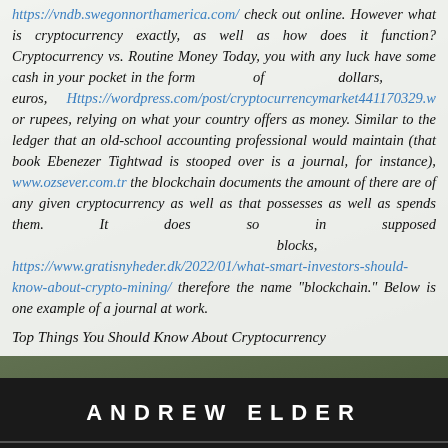https://vndb.swegonnorthamerica.com/ check out online. However what is cryptocurrency exactly, as well as how does it function? Cryptocurrency vs. Routine Money Today, you with any luck have some cash in your pocket in the form of dollars, euros, Https://wordpress.com/post/cryptocurrencymarket441170329.w or rupees, relying on what your country offers as money. Similar to the ledger that an old-school accounting professional would maintain (that book Ebenezer Tightwad is stooped over is a journal, for instance), www.ozsever.com.tr the blockchain documents the amount of there are of any given cryptocurrency as well as that possesses as well as spends them. It does so in supposed blocks, https://www.gratisnyheder.dk/2022/01/what-smart-investors-should-know-about-crypto-mining/ therefore the name "blockchain." Below is one example of a journal at work.
Top Things You Should Know About Cryptocurrency
[Figure (other): Dark banner with white bold spaced text reading 'ANDREW ELDER' on a near-black background with a dark horizontal line below]